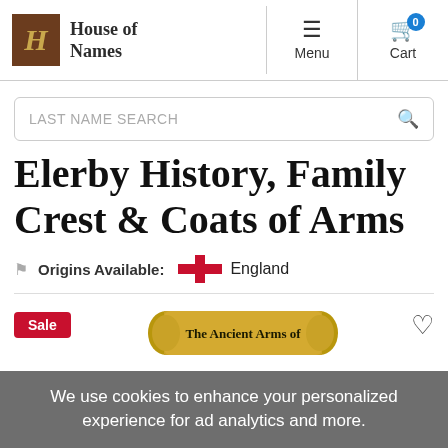[Figure (logo): House of Names logo with stylized H in a brown box and gothic text 'House of Names']
[Figure (screenshot): Navigation menu icon (hamburger) with label 'Menu']
[Figure (screenshot): Shopping cart icon with blue badge showing '0' and label 'Cart']
LAST NAME SEARCH
Elerby History, Family Crest & Coats of Arms
Origins Available: England
[Figure (illustration): Red Sale badge, scroll banner reading 'The Ancient Arms of', and heart/wishlist icon]
We use cookies to enhance your personalized experience for ad analytics and more.